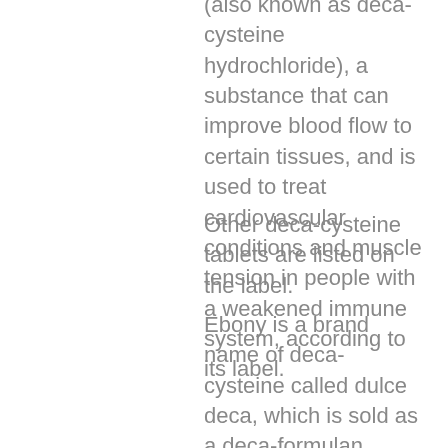(also known as deca-cysteine hydrochloride), a substance that can improve blood flow to certain tissues, and is used to treat cardiovascular conditions and muscle tension in people with a weakened immune system, according to its label.
Other deca-cysteine tablets are listed on the label.
Ebony is a brand name of deca-cysteine called dulce deca, which is sold as a deca-formulan supplement, buy steroids india online.
Tropine
Tropine is a form of deca-cysteine that is used to treat some of the ailments that occur when you are not properly hydrated, anabolic steroid cycle guide. You will find it on the label with the word "toxin," but a toxin